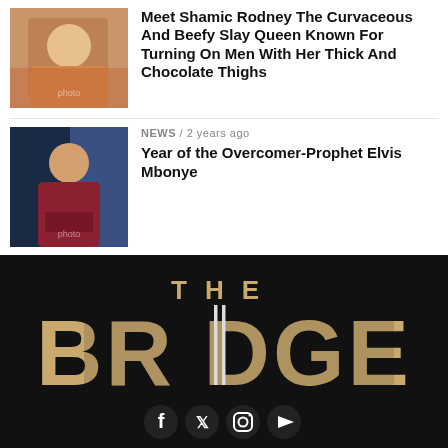[Figure (photo): Thumbnail photo of Shamic Rodney, a woman in colorful outfit]
Meet Shamic Rodney The Curvaceous And Beefy Slay Queen Known For Turning On Men With Her Thick And Chocolate Thighs
NEWS / 2 years ago
[Figure (photo): Thumbnail photo of Prophet Elvis Mbonye, a man in a red suit on stage]
Year of the Overcomer-Prophet Elvis Mbonye
[Figure (logo): THE BRIDGE logo in large distressed gold letters on black background]
[Figure (infographic): Social media icons: Facebook, Twitter, Instagram, YouTube]